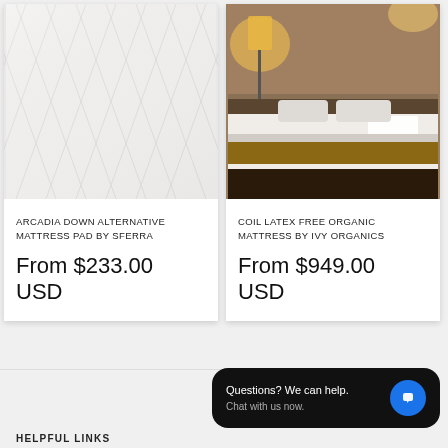[Figure (photo): Close-up of white quilted mattress pad texture]
ARCADIA DOWN ALTERNATIVE MATTRESS PAD BY SFERRA
From $233.00 USD
[Figure (photo): Bedroom scene with a bed mattress on a wooden frame, warm lighting from a bedside lamp]
COIL LATEX FREE ORGANIC MATTRESS BY IVY ORGANICS
From $949.00 USD
Questions? We can help. Chat with us now.
HELPFUL LINKS